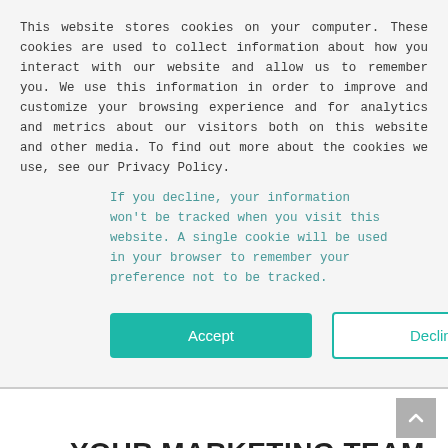This website stores cookies on your computer. These cookies are used to collect information about how you interact with our website and allow us to remember you. We use this information in order to improve and customize your browsing experience and for analytics and metrics about our visitors both on this website and other media. To find out more about the cookies we use, see our Privacy Policy.
If you decline, your information won't be tracked when you visit this website. A single cookie will be used in your browser to remember your preference not to be tracked.
Accept
Decline
YOUR MARKETING TEAM
Digital marketing